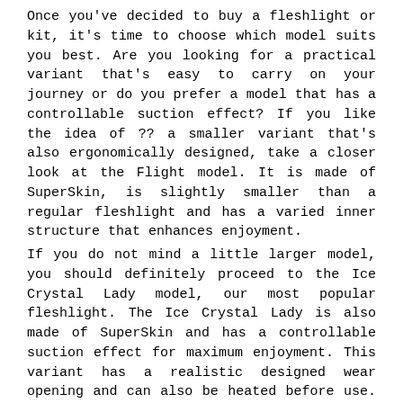Once you've decided to buy a fleshlight or kit, it's time to choose which model suits you best. Are you looking for a practical variant that's easy to carry on your journey or do you prefer a model that has a controllable suction effect? If you like the idea of ?? a smaller variant that's also ergonomically designed, take a closer look at the Flight model. It is made of SuperSkin, is slightly smaller than a regular fleshlight and has a varied inner structure that enhances enjoyment.
If you do not mind a little larger model, you should definitely proceed to the Ice Crystal Lady model, our most popular fleshlight. The Ice Crystal Lady is also made of SuperSkin and has a controllable suction effect for maximum enjoyment. This variant has a realistic designed wear opening and can also be heated before use. Both Flight and Ice Crystal Lady are best used with water-based lubricants and fleshwash as well as renewing powder afterwards.